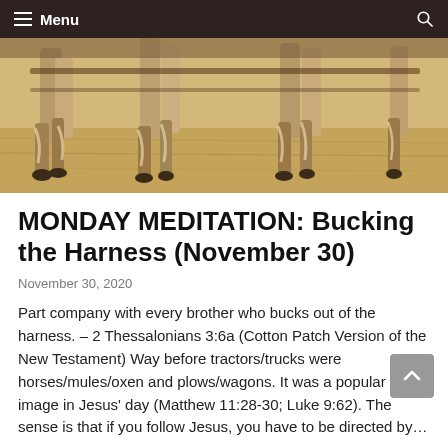Menu
[Figure (photo): Close-up photo of horse legs and hooves on dry grass/field ground]
MONDAY MEDITATION: Bucking the Harness (November 30)
November 30, 2020
Part company with every brother who bucks out of the harness. – 2 Thessalonians 3:6a (Cotton Patch Version of the New Testament) Way before tractors/trucks were horses/mules/oxen and plows/wagons. It was a popular image in Jesus' day (Matthew 11:28-30; Luke 9:62). The sense is that if you follow Jesus, you have to be directed by…